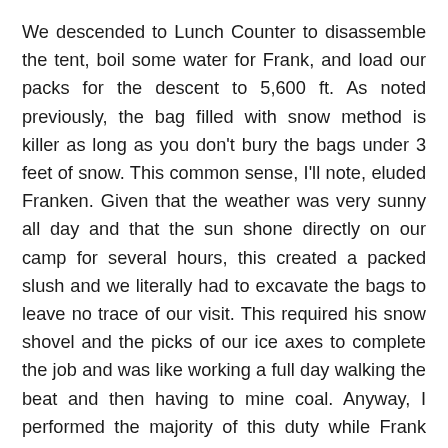We descended to Lunch Counter to disassemble the tent, boil some water for Frank, and load our packs for the descent to 5,600 ft. As noted previously, the bag filled with snow method is killer as long as you don't bury the bags under 3 feet of snow. This common sense, I'll note, eluded Franken. Given that the weather was very sunny all day and that the sun shone directly on our camp for several hours, this created a packed slush and we literally had to excavate the bags to leave no trace of our visit. This required his snow shovel and the picks of our ice axes to complete the job and was like working a full day walking the beat and then having to mine coal. Anyway, I performed the majority of this duty while Frank tended to his water needs/modified his glissader and we packed up all of our gear for going down the mountain.